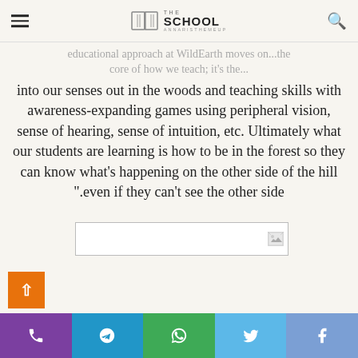THE SCHOOL — site navigation header with logo and search
educational approach at WildEarth moves on ... the core of how we teach; it's the ... into our senses out in the woods and teaching skills with awareness-expanding games using peripheral vision, sense of hearing, sense of intuition, etc. Ultimately what our students are learning is how to be in the forest so they can know what's happening on the other side of the hill ".even if they can't see the other side
[Figure (photo): Small image placeholder with broken/loading image icon in the bottom-right corner]
Social share bar: phone, Telegram, WhatsApp, Twitter, Facebook